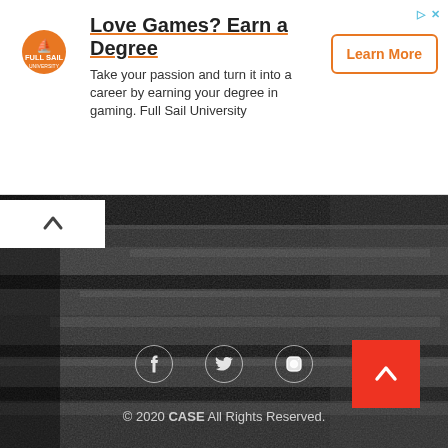[Figure (infographic): Advertisement banner for Full Sail University with logo, title 'Love Games? Earn a Degree', body text, and Learn More button]
[Figure (photo): Black and white photograph of outdoor stone steps overgrown with grass]
© 2020 CASE All Rights Reserved.